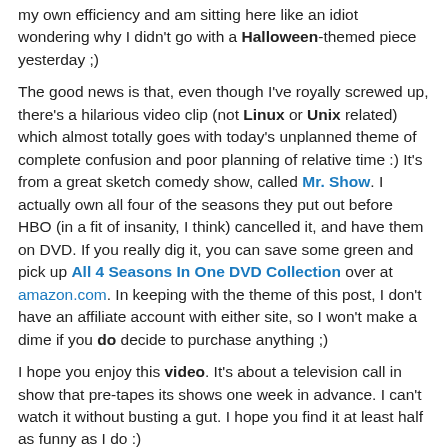my own efficiency and am sitting here like an idiot wondering why I didn't go with a Halloween-themed piece yesterday ;)
The good news is that, even though I've royally screwed up, there's a hilarious video clip (not Linux or Unix related) which almost totally goes with today's unplanned theme of complete confusion and poor planning of relative time :) It's from a great sketch comedy show, called Mr. Show. I actually own all four of the seasons they put out before HBO (in a fit of insanity, I think) cancelled it, and have them on DVD. If you really dig it, you can save some green and pick up All 4 Seasons In One DVD Collection over at amazon.com. In keeping with the theme of this post, I don't have an affiliate account with either site, so I won't make a dime if you do decide to purchase anything ;)
I hope you enjoy this video. It's about a television call in show that pre-tapes its shows one week in advance. I can't watch it without busting a gut. I hope you find it at least half as funny as I do :)
Enjoy, and happy belated Halloween ;)